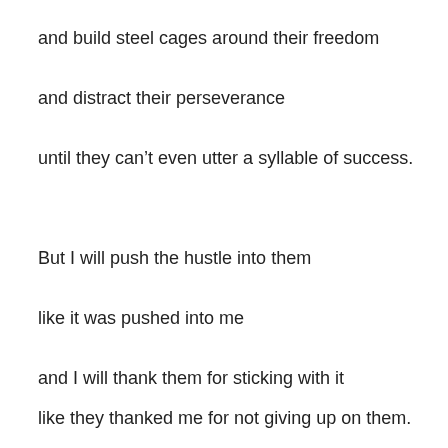and build steel cages around their freedom
and distract their perseverance
until they can't even utter a syllable of success.
But I will push the hustle into them
like it was pushed into me
and I will thank them for sticking with it
like they thanked me for not giving up on them.